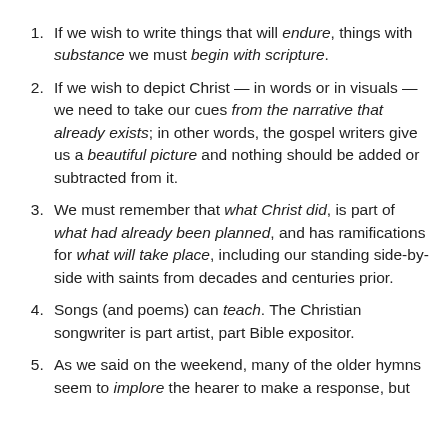If we wish to write things that will endure, things with substance we must begin with scripture.
If we wish to depict Christ — in words or in visuals — we need to take our cues from the narrative that already exists; in other words, the gospel writers give us a beautiful picture and nothing should be added or subtracted from it.
We must remember that what Christ did, is part of what had already been planned, and has ramifications for what will take place, including our standing side-by-side with saints from decades and centuries prior.
Songs (and poems) can teach. The Christian songwriter is part artist, part Bible expositor.
As we said on the weekend, many of the older hymns seem to implore the hearer to make a response, but